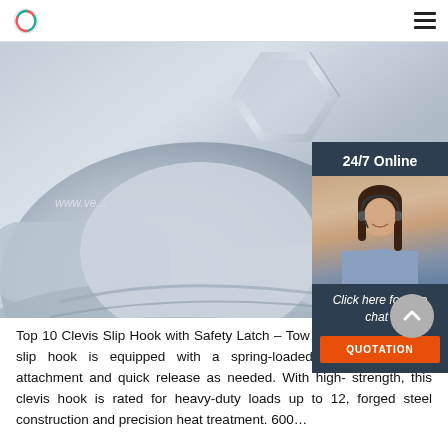[Figure (photo): Close-up photo of a galvanized/zinc-plated clevis slip hook with a hexagonal nut on top, showing the metallic silver hardware detail. A watermark URL is partially visible.]
[Figure (infographic): 24/7 Online chat widget showing a customer service representative with headset, with text 'Click here for free chat!' and a QUOTATION button]
Top 10 Clevis Slip Hook with Safety Latch – Tow Hooks – This clevis slip hook is equipped with a spring-loaded latch for secure attachment and quick release as needed. With high-strength, this clevis hook is rated for heavy-duty loads up to 12, forged steel construction and precision heat treatment. 600…